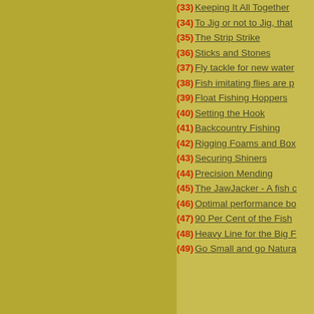(33) Keeping It All Together
(34) To Jig or not to Jig, that
(35) The Strip Strike
(36) Sticks and Stones
(37) Fly tackle for new waters
(38) Fish imitating flies are p
(39) Float Fishing Hoppers
(40) Setting the Hook
(41) Backcountry Fishing
(42) Rigging Foams and Box
(43) Securing Shiners
(44) Precision Mending
(45) The JawJacker - A fish c
(46) Optimal performance bo
(47) 90 Per Cent of the Fish
(48) Heavy Line for the Big F
(49) Go Small and go Natura